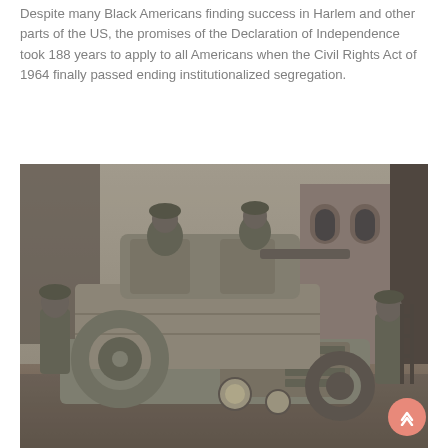Despite many Black Americans finding success in Harlem and other parts of the US, the promises of the Declaration of Independence took 188 years to apply to all Americans when the Civil Rights Act of 1964 finally passed ending institutionalized segregation.
[Figure (photo): Historical black and white photograph of soldiers in or around an armored military vehicle on a street, with a brick building visible in the background.]